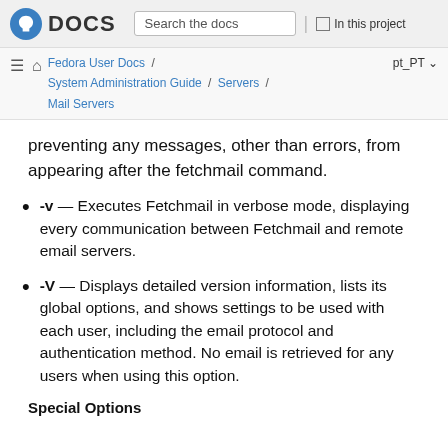Fedora DOCS — Search the docs | In this project
Fedora User Docs / System Administration Guide / Servers / Mail Servers — pt_PT
preventing any messages, other than errors, from appearing after the fetchmail command.
-v — Executes Fetchmail in verbose mode, displaying every communication between Fetchmail and remote email servers.
-V — Displays detailed version information, lists its global options, and shows settings to be used with each user, including the email protocol and authentication method. No email is retrieved for any users when using this option.
Special Options